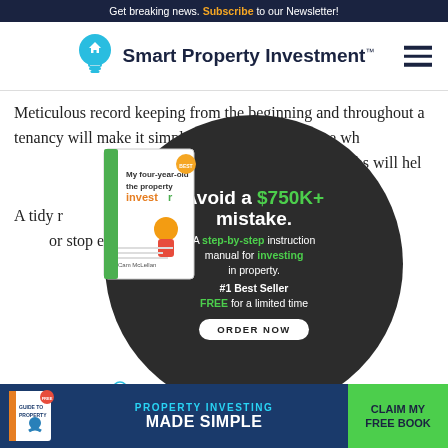Get breaking news. Subscribe to our Newsletter!
[Figure (logo): Smart Property Investment logo with lightbulb icon and hamburger menu]
Meticulous record keeping from the beginning and throughout a tenancy will make it simple for your insurer to see wh... gh entry c... aphs will hel...
[Figure (infographic): Dark circular ad overlay: 'Avoid a $750K+ mistake. A step-by-step instruction manual for investing in property. #1 Best Seller FREE for a limited time ORDER NOW' with book image 'My four-year-old the property investor' and OpenCorp branding]
A tidy r... ental payme... or stop entirely...
These are common pieces of evidence requested by landlord insurers for loss of rent or damage claims. Incomp... o speak... the
[Figure (infographic): Bottom banner ad: PROPERTY INVESTING MADE SIMPLE with CLAIM MY FREE BOOK button]